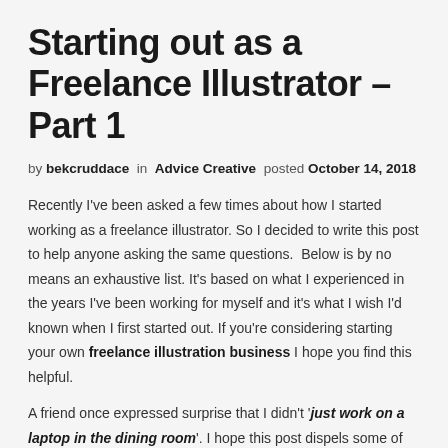Starting out as a Freelance Illustrator – Part 1
by bekcruddace  in  Advice Creative  posted  October 14, 2018
Recently I've been asked a few times about how I started working as a freelance illustrator. So I decided to write this post to help anyone asking the same questions.  Below is by no means an exhaustive list. It's based on what I experienced in the years I've been working for myself and it's what I wish I'd known when I first started out. If you're considering starting your own freelance illustration business I hope you find this helpful.
A friend once expressed surprise that I didn't 'just work on a laptop in the dining room'. I hope this post dispels some of that way of